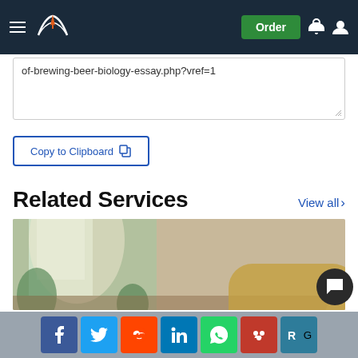Navigation bar with logo and Order button
of-brewing-beer-biology-essay.php?vref=1
Copy to Clipboard
Related Services
View all >
[Figure (photo): Woman with glasses sitting at a desk looking at a laptop screen, in a cafe or study environment with plants and window light in background]
Social share buttons: Facebook, Twitter, Reddit, LinkedIn, WhatsApp, Mendeley, ResearchGate